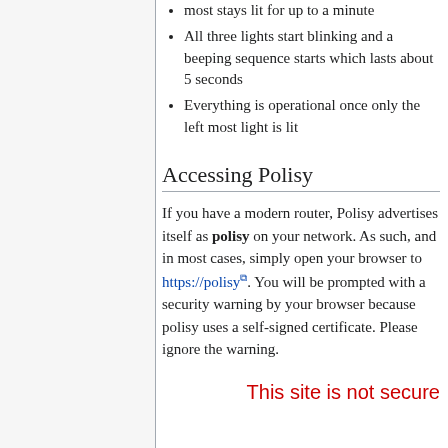most stays lit for up to a minute
All three lights start blinking and a beeping sequence starts which lasts about 5 seconds
Everything is operational once only the left most light is lit
Accessing Polisy
If you have a modern router, Polisy advertises itself as polisy on your network. As such, and in most cases, simply open your browser to https://polisy. You will be prompted with a security warning by your browser because polisy uses a self-signed certificate. Please ignore the warning.
[Figure (screenshot): Partial screenshot showing red text: 'This site is not secure']